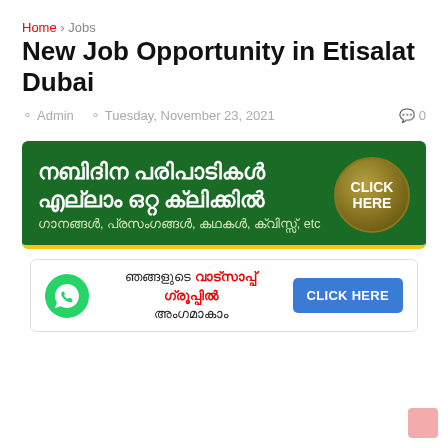Home > Jobs
New Job Opportunity in Etisalat Dubai
Admin  Tuesday, November 23, 2021  0
[Figure (infographic): Green banner ad in Malayalam: 'നബിദിന പരിപാടികൾ എല്ലാം ഒറ്റ ക്ലിക്കിൽ' with subtitle 'ഗാനങ്ങൾ, പ്രസംഗങ്ങൾ, കഥകൾ, ക്വിസ്സ്, etc' and a circular CLICK HERE button]
[Figure (infographic): WhatsApp group join banner with Malayalam text 'ഞങ്ങളുടെ വാട്സാപ്പ് ഗ്രൂപ്പിൽ അംഗമാകാം' and a CLICK HERE button]